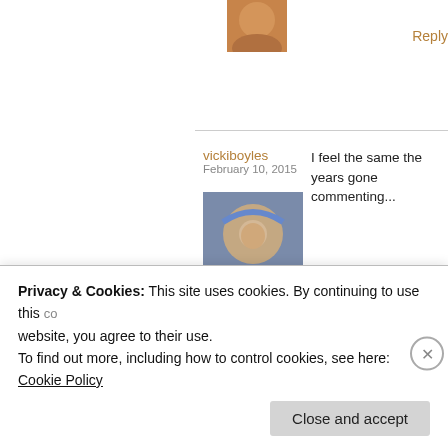[Figure (photo): Small avatar photo at top, person with warm tones]
Reply
vickiboyles
February 10, 2015
I feel the same the years gone commenting...
[Figure (photo): Avatar photo of a woman with blue headband outdoors]
★ Liked by 2 people
Reply
Laissez Faire
February 10, 2015
I'm pre and co
[Figure (photo): Small avatar photo at bottom, person with dark tones]
Privacy & Cookies: This site uses cookies. By continuing to use this website, you agree to their use.
To find out more, including how to control cookies, see here:
Cookie Policy
Close and accept